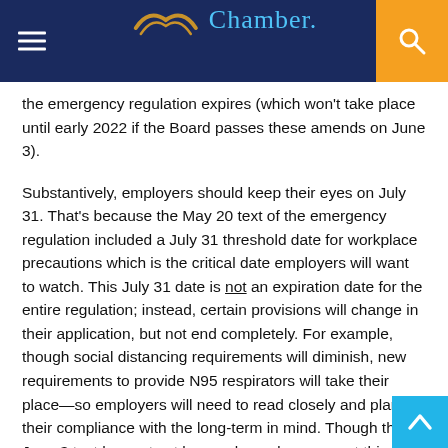Chamber.
the emergency regulation expires (which won't take place until early 2022 if the Board passes these amends on June 3).
Substantively, employers should keep their eyes on July 31. That's because the May 20 text of the emergency regulation included a July 31 threshold date for workplace precautions which is the critical date employers will want to watch. This July 31 date is not an expiration date for the entire regulation; instead, certain provisions will change in their application, but not end completely. For example, though social distancing requirements will diminish, new requirements to provide N95 respirators will take their place—so employers will need to read closely and plan their compliance with the long-term in mind. Though the June 3 text has not yet been released, we expect this July 31 transition date will likely be maintained in the June 3 text, so